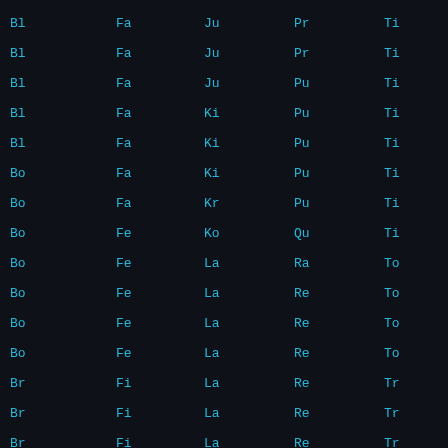| Col1 | Col2 | Col3 | Col4 | Col5 |
| --- | --- | --- | --- | --- |
| Bl | Fa | Ju | Pr | Ti |
| Bl | Fa | Ju | Pr | Ti |
| Bl | Fa | Ju | Pu | Ti |
| Bl | Fa | Ki | Pu | Ti |
| Bl | Fa | Ki | Pu | Ti |
| Bo | Fa | Ki | Pu | Ti |
| Bo | Fa | Kr | Pu | Ti |
| Bo | Fe | Ko | Qu | Ti |
| Bo | Fe | La | Ra | To |
| Bo | Fe | La | Re | To |
| Bo | Fe | La | Re | To |
| Bo | Fe | La | Re | To |
| Br | Fi | La | Re | Tr |
| Br | Fi | La | Re | Tr |
| Br | Fi | La | Re | Tr |
|  | Fi | La | Re | Tr |